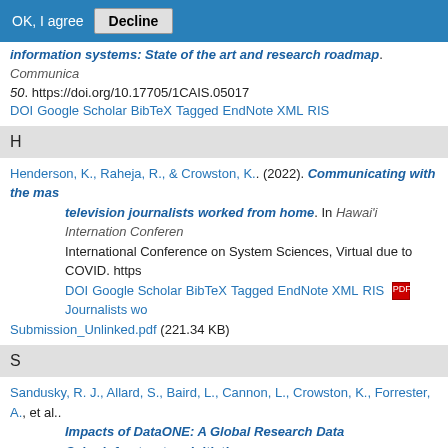OK, I agree  Decline
information systems: State of the art and research roadmap. Communica 50. https://doi.org/10.17705/1CAIS.05017
DOI Google Scholar BibTeX Tagged EndNote XML RIS
H
Henderson, K., Raheja, R., & Crowston, K.. (2022). Communicating with the mas television journalists worked from home. In Hawai'i International Conferen International Conference on System Sciences, Virtual due to COVID. https DOI Google Scholar BibTeX Tagged EndNote XML RIS Journalists wo Submission_Unlinked.pdf (221.34 KB)
S
Sandusky, R. J., Allard, S., Baird, L., Cannon, L., Crowston, K., Forrester, A., et al.. Impacts of DataONE: A Global Research Data Cyberinfrastructure Initiati https://doi.org/10.2218/ijdc.v16i1.678
DOI Google Scholar BibTeX Tagged EndNote XML RIS
C
Crowston, K., Saltz, J., Sitaula, N., & Hegde, Y.. (2021). Evaluating MIDST a syste